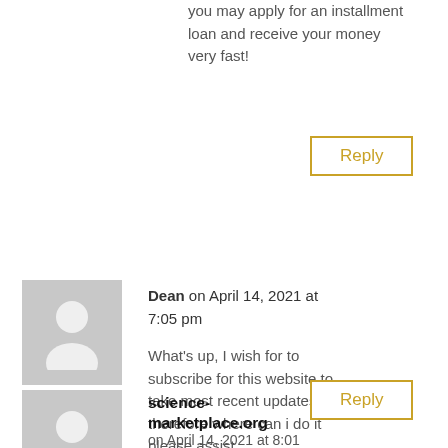you may apply for an installment loan and receive your money very fast!
Reply
Dean on April 14, 2021 at 7:05 pm
What’s up, I wish for to subscribe for this website to take most recent updates, therefore where can i do it please assist.
Reply
science-marketplace.org on April 14, 2021 at 8:01